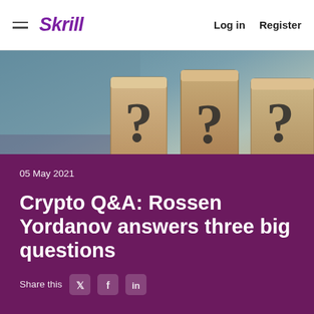Skrill | Log in | Register
[Figure (photo): Three wooden blocks with question marks on them against a blurred teal/grey background]
05 May 2021
Crypto Q&A: Rossen Yordanov answers three big questions
Share this